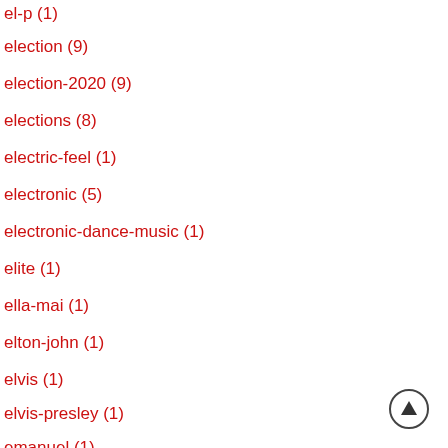el-p (1)
election (9)
election-2020 (9)
elections (8)
electric-feel (1)
electronic (5)
electronic-dance-music (1)
elite (1)
ella-mai (1)
elton-john (1)
elvis (1)
elvis-presley (1)
emanuel (1)
[Figure (other): Scroll to top button — circular arrow-up icon]